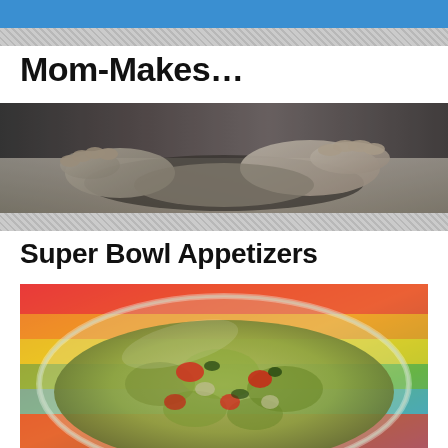Mom-Makes…
[Figure (photo): Black and white photo of hands kneading dough on a flat surface]
Super Bowl Appetizers
[Figure (photo): Color photo of a glass bowl filled with fresh guacamole with tomatoes and herbs, on a colorful striped background]